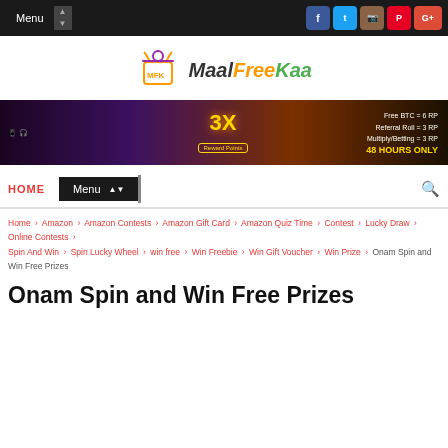Menu | Facebook Twitter Instagram Pinterest Google+
[Figure (logo): MaalFreeKaa logo with shopping bag icon and colorful brand name text]
[Figure (infographic): Banner advertisement showing 3X Reward Points promotion with 48 HOURS ONLY text, Free BTC = 6 RP, Referral Roll = 3 RP, Multiply/Betting = 3 RP]
HOME | Menu | Search
Home > Amazon > Amazon Contests > Amazon Gift Card > Amazon Quiz Time > Contest > Lucky Draw > Online Contests > Spin And Win > Spin Lucky Wheel > win free > Win Freebie > Win Gift Voucher > Win Prize > Onam Spin and Win Free Prizes
Onam Spin and Win Free Prizes